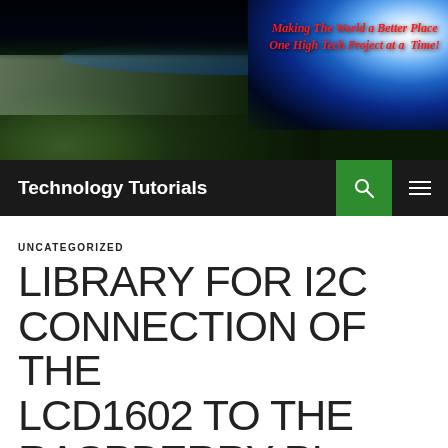[Figure (photo): Space/Earth photograph from orbit showing continents, clouds, and atmosphere with a bright sunlight glare on the right side]
Making The World a Better Place One High Tech Project at a Time!
Technology Tutorials
UNCATEGORIZED
LIBRARY FOR I2C CONNECTION OF THE LCD1602 TO THE RASPBERRY PI
AUGUST 31, 2022